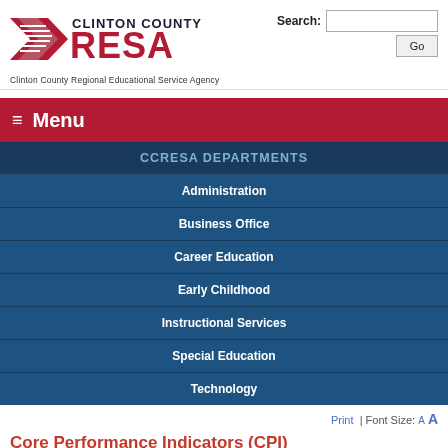[Figure (logo): Clinton County RESA logo with red swoosh graphic and bold RESA text]
Clinton County Regional Educational Service Agency
Search: [input] Go
≡ Menu
CCRESA DEPARTMENTS
Administration
Business Office
Career Education
Early Childhood
Instructional Services
Special Education
Technology
Print  | Font Size:  A  A
Core Performance Indicators (CPI)